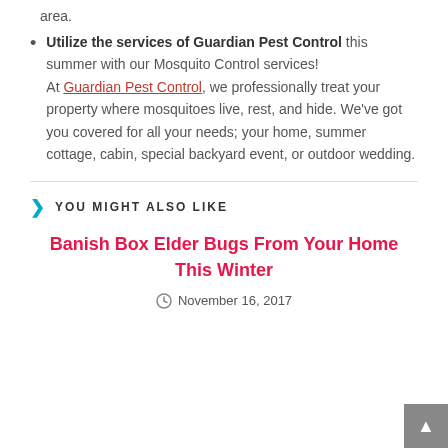area.
Utilize the services of Guardian Pest Control this summer with our Mosquito Control services! At Guardian Pest Control, we professionally treat your property where mosquitoes live, rest, and hide. We've got you covered for all your needs; your home, summer cottage, cabin, special backyard event, or outdoor wedding.
YOU MIGHT ALSO LIKE
Banish Box Elder Bugs From Your Home This Winter
November 16, 2017